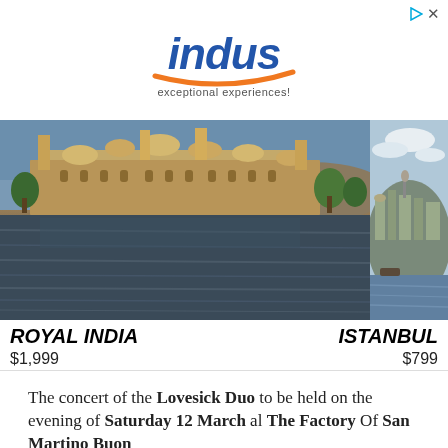[Figure (logo): Indus travel company logo with text 'indus' in blue italic bold font, orange swoosh underneath, tagline 'exceptional experiences!']
[Figure (photo): Two travel destination photos side by side: left shows Royal India with a palace/fort reflected on a lake (Udaipur City Palace), right shows Istanbul cityscape with domes and buildings on a hillside]
ROYAL INDIA
ISTANBUL
$1,999
$799
The concert of the Lovesick Duo to be held on the evening of Saturday 12 March al The Factory Of San Martino Buon